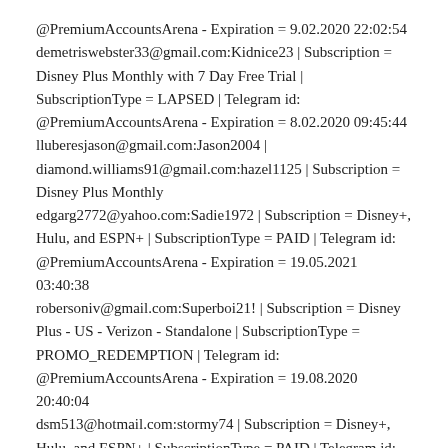@PremiumAccountsArena - Expiration = 9.02.2020 22:02:54
demetriswebster33@gmail.com:Kidnice23 | Subscription = Disney Plus Monthly with 7 Day Free Trial | SubscriptionType = LAPSED | Telegram id: @PremiumAccountsArena - Expiration = 8.02.2020 09:45:44
lluberesjason@gmail.com:Jason2004 |
diamond.williams91@gmail.com:hazel1125 | Subscription = Disney Plus Monthly
edgarg2772@yahoo.com:Sadie1972 | Subscription = Disney+, Hulu, and ESPN+ | SubscriptionType = PAID | Telegram id: @PremiumAccountsArena - Expiration = 19.05.2021 03:40:38
robersoniv@gmail.com:Superboi21! | Subscription = Disney Plus - US - Verizon - Standalone | SubscriptionType = PROMO_REDEMPTION | Telegram id: @PremiumAccountsArena - Expiration = 19.08.2020 20:40:04
dsm513@hotmail.com:stormy74 | Subscription = Disney+, Hulu, and ESPN+ | SubscriptionType = PAID | Telegram id: @PremiumAccountsArena - Expiration = 22.04.2021 17:58:22
dwat2579@gmail.com:thundercats257 | Subscription = Disney Plus